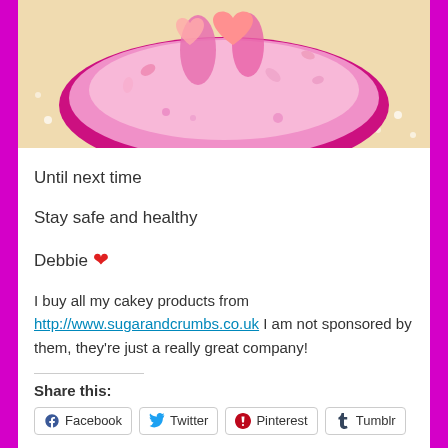[Figure (photo): Top portion of a pink fondant cake with heart decorations and flower petals on a cream/beige background, shown from above at an angle]
Until next time
Stay safe and healthy
Debbie ❤
I buy all my cakey products from http://www.sugarandcrumbs.co.uk I am not sponsored by them, they're just a really great company!
Share this:
Facebook  Twitter  Pinterest  Tumblr